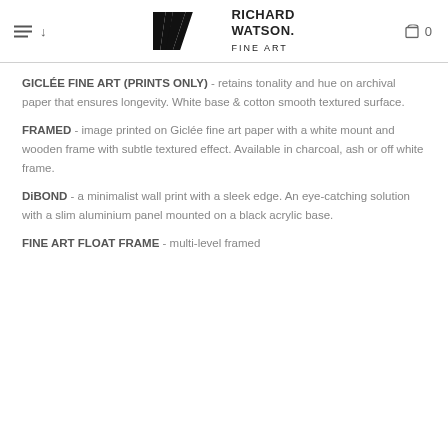Richard Watson Fine Art
GICLÉE FINE ART (PRINTS ONLY) - retains tonality and hue on archival paper that ensures longevity. White base & cotton smooth textured surface.
FRAMED - image printed on Giclée fine art paper with a white mount and wooden frame with subtle textured effect. Available in charcoal, ash or off white frame.
DiBOND - a minimalist wall print with a sleek edge. An eye-catching solution with a slim aluminium panel mounted on a black acrylic base.
FINE ART FLOAT FRAME - multi-level framed